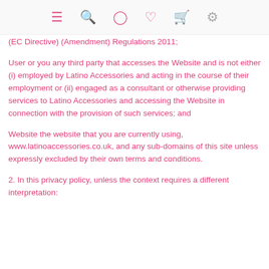menu search user wishlist cart settings
(EC Directive) (Amendment) Regulations 2011;
User or you any third party that accesses the Website and is not either (i) employed by Latino Accessories and acting in the course of their employment or (ii) engaged as a consultant or otherwise providing services to Latino Accessories and accessing the Website in connection with the provision of such services; and
Website the website that you are currently using, www.latinoaccessories.co.uk, and any sub-domains of this site unless expressly excluded by their own terms and conditions.
2. In this privacy policy, unless the context requires a different interpretation: